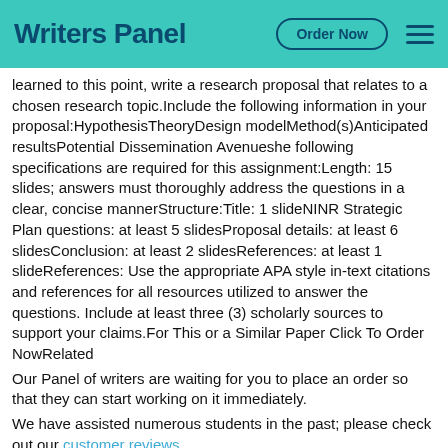Writers Panel | Order Now
learned to this point, write a research proposal that relates to a chosen research topic.Include the following information in your proposal:HypothesisTheoryDesign modelMethod(s)Anticipated resultsPotential Dissemination Avenueshe following specifications are required for this assignment:Length: 15 slides; answers must thoroughly address the questions in a clear, concise mannerStructure:Title: 1 slideNINR Strategic Plan questions: at least 5 slidesProposal details: at least 6 slidesConclusion: at least 2 slidesReferences: at least 1 slideReferences: Use the appropriate APA style in-text citations and references for all resources utilized to answer the questions. Include at least three (3) scholarly sources to support your claims.For This or a Similar Paper Click To Order NowRelated
Our Panel of writers are waiting for you to place an order so that they can start working on it immediately.
We have assisted numerous students in the past; please check out our customer reviews.